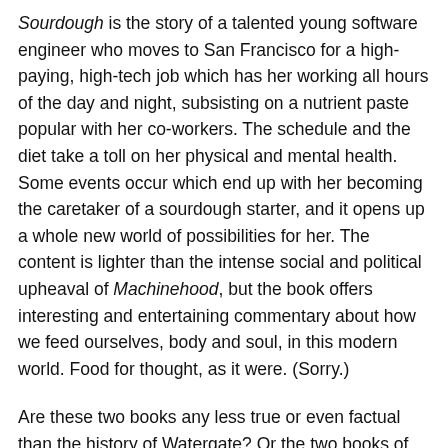Sourdough is the story of a talented young software engineer who moves to San Francisco for a high-paying, high-tech job which has her working all hours of the day and night, subsisting on a nutrient paste popular with her co-workers. The schedule and the diet take a toll on her physical and mental health. Some events occur which end up with her becoming the caretaker of a sourdough starter, and it opens up a whole new world of possibilities for her. The content is lighter than the intense social and political upheaval of Machinehood, but the book offers interesting and entertaining commentary about how we feed ourselves, body and soul, in this modern world. Food for thought, as it were. (Sorry.)
Are these two books any less true or even factual than the history of Watergate? Or the two books of Russian history